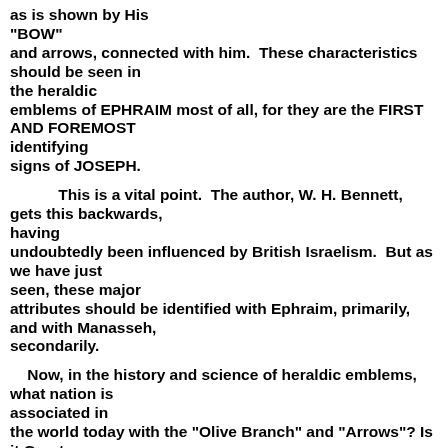as is shown by His "BOW" and arrows, connected with him.  These characteristics should be seen in the heraldic emblems of EPHRAIM most of all, for they are the FIRST AND FOREMOST identifying signs of JOSEPH.
This is a vital point.  The author, W. H. Bennett, gets this backwards, having undoubtedly been influenced by British Israelism.  But as we have just seen, these major attributes should be identified with Ephraim, primarily, and with Manasseh, secondarily.
Now, in the history and science of heraldic emblems, what nation is associated in the world today with the "Olive Branch" and "Arrows"? Is it Great